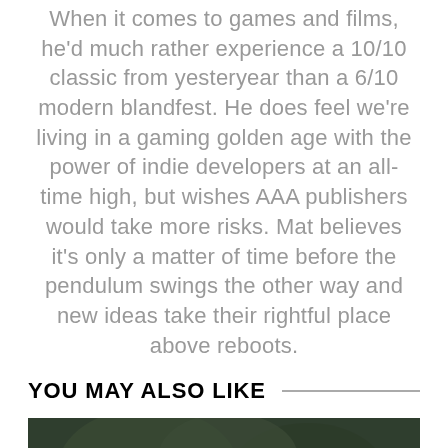When it comes to games and films, he'd much rather experience a 10/10 classic from yesteryear than a 6/10 modern blandfest. He does feel we're living in a gaming golden age with the power of indie developers at an all-time high, but wishes AAA publishers would take more risks. Mat believes it's only a matter of time before the pendulum swings the other way and new ideas take their rightful place above reboots.
YOU MAY ALSO LIKE
[Figure (photo): Partially visible dark green/brown image, likely a game or film scene, cropped at bottom of page.]